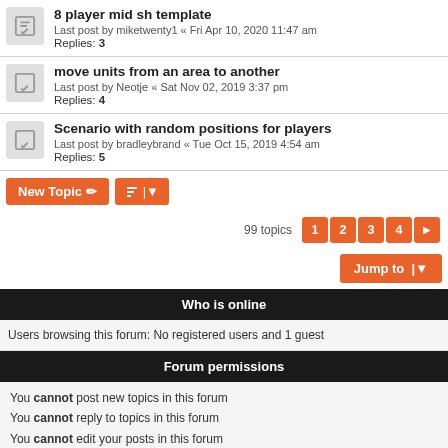8 player mid sh template
Last post by miketwenty1 « Fri Apr 10, 2020 11:47 am
Replies: 3
move units from an area to another
Last post by Neotje « Sat Nov 02, 2019 3:37 pm
Replies: 4
Scenario with random positions for players
Last post by bradleybrand « Tue Oct 15, 2019 4:54 am
Replies: 5
New Topic  |▼   99 topics  1 2 3 4 ▶
Jump to  |▼
Who is online
Users browsing this forum: No registered users and 1 guest
Forum permissions
You cannot post new topics in this forum
You cannot reply to topics in this forum
You cannot edit your posts in this forum
You cannot delete your posts in this forum
You cannot post attachments in this forum